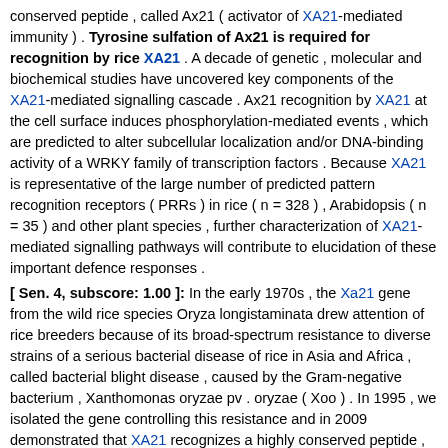conserved peptide , called Ax21 ( activator of XA21-mediated immunity ) . Tyrosine sulfation of Ax21 is required for recognition by rice XA21 . A decade of genetic , molecular and biochemical studies have uncovered key components of the XA21-mediated signalling cascade . Ax21 recognition by XA21 at the cell surface induces phosphorylation-mediated events , which are predicted to alter subcellular localization and/or DNA-binding activity of a WRKY family of transcription factors . Because XA21 is representative of the large number of predicted pattern recognition receptors ( PRRs ) in rice ( n = 328 ) , Arabidopsis ( n = 35 ) and other plant species , further characterization of XA21-mediated signalling pathways will contribute to elucidation of these important defence responses . [ Sen. 4, subscore: 1.00 ]: In the early 1970s , the Xa21 gene from the wild rice species Oryza longistaminata drew attention of rice breeders because of its broad-spectrum resistance to diverse strains of a serious bacterial disease of rice in Asia and Africa , called bacterial blight disease , caused by the Gram-negative bacterium , Xanthomonas oryzae pv . oryzae ( Xoo ) . In 1995 , we isolated the gene controlling this resistance and in 2009 demonstrated that XA21 recognizes a highly conserved peptide , called Ax21 ( activator of XA21-mediated immunity ) . Tyrosine sulfation of Ax21 is required for recognition by rice XA21 . A decade of genetic , molecular and biochemical studies have uncovered key components of the XA21-mediated signalling cascade . Ax21 recognition by XA21 at the cell surface induces phosphorylation-mediated events , which are predicted to alter subcellular localization and/or DNA-binding activity of a WRKY family of transcription factors . Because XA21 is representative of the large number of predicted pattern recognition receptors ( PRRs ) in rice ( n = 328 ) , Arabidopsis ( n = 35 ) and other plant species , further characterization of XA21-mediated signalling pathways will contribute to